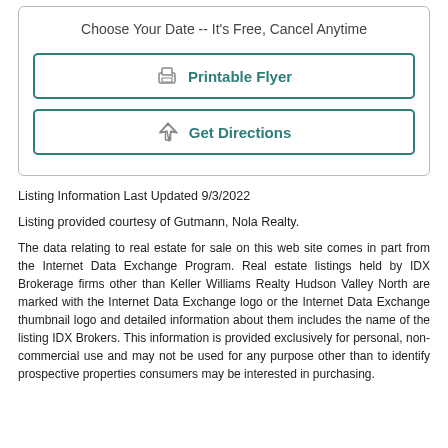Choose Your Date -- It's Free, Cancel Anytime
[Figure (other): Button: Printable Flyer (printer icon)]
[Figure (other): Button: Get Directions (navigation arrow icon)]
Listing Information Last Updated 9/3/2022
Listing provided courtesy of Gutmann, Nola Realty.
The data relating to real estate for sale on this web site comes in part from the Internet Data Exchange Program. Real estate listings held by IDX Brokerage firms other than Keller Williams Realty Hudson Valley North are marked with the Internet Data Exchange logo or the Internet Data Exchange thumbnail logo and detailed information about them includes the name of the listing IDX Brokers. This information is provided exclusively for personal, non-commercial use and may not be used for any purpose other than to identify prospective properties consumers may be interested in purchasing.